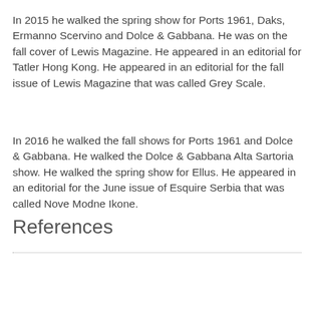In 2015 he walked the spring show for Ports 1961, Daks, Ermanno Scervino and Dolce & Gabbana. He was on the fall cover of Lewis Magazine. He appeared in an editorial for Tatler Hong Kong. He appeared in an editorial for the fall issue of Lewis Magazine that was called Grey Scale.
In 2016 he walked the fall shows for Ports 1961 and Dolce & Gabbana. He walked the Dolce & Gabbana Alta Sartoria show. He walked the spring show for Ellus. He appeared in an editorial for the June issue of Esquire Serbia that was called Nove Modne Ikone.
References